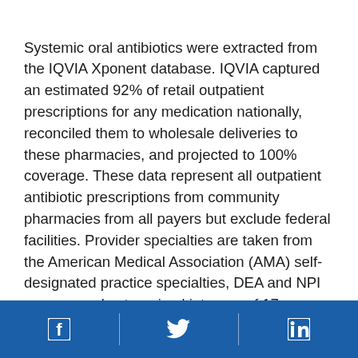Systemic oral antibiotics were extracted from the IQVIA Xponent database. IQVIA captured an estimated 92% of retail outpatient prescriptions for any medication nationally, reconciled them to wholesale deliveries to these pharmacies, and projected to 100% coverage. These data represent all outpatient antibiotic prescriptions from community pharmacies from all payers but exclude federal facilities. Provider specialties are taken from the American Medical Association (AMA) self-designated practice specialties, DEA and NPI sources and categorized into one of 17 groups. Population data were obtained from the U.S. Census bridging files. Starting in 2017, enhancements to IQVIA's methodology also take into account the tecom prescriptions which...
Social media icons: Facebook, Twitter, LinkedIn